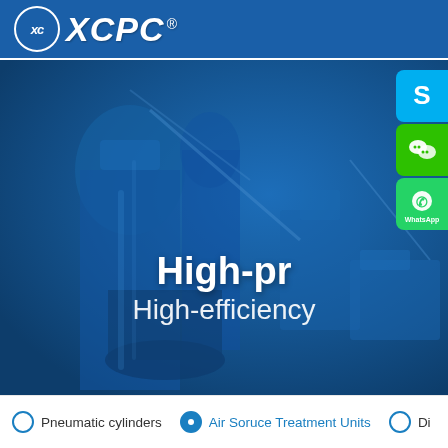[Figure (logo): XCPC company logo with circle XC badge and italic XCPC text in white on blue header bar]
[Figure (photo): Blue-tinted industrial/pneumatic machinery and components background image filling hero area]
High-pr
High-efficiency
[Figure (screenshot): Social media icons on right side: Skype (blue), WeChat (green), WhatsApp (green) with label]
Pneumatic cylinders
Air Soruce Treatment Units
Di